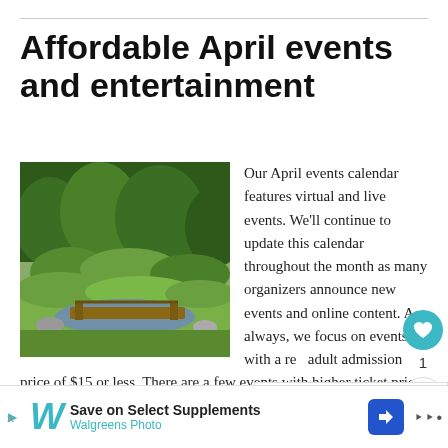Affordable April events and entertainment
[Figure (photo): Japanese garden with green trees, manicured shrubs, a wooden bridge over a small pond, and stone landscaping]
Our April events calendar features virtual and live events. We’ll continue to update this calendar throughout the month as many organizers announce new events and online content. As always, we focus on events with a regular adult admission price of $15 or less. There are a few events with higher ticket prices that
[Figure (infographic): WHAT’S NEXT arrow promo: Free things to do in May, with colorful flower image]
Save on Select Supplements | Walgreens Photo